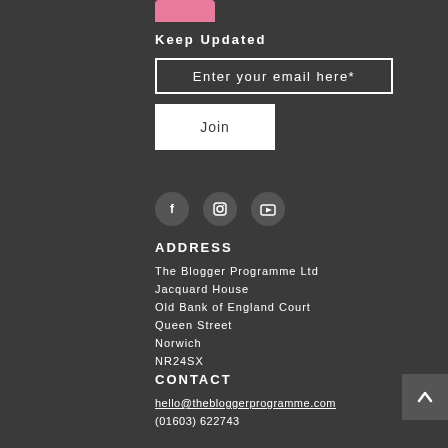Keep Updated
Enter your email here*
Join
[Figure (other): Social media icons: Facebook, Instagram, YouTube in dark circular buttons]
ADDRESS
The Blogger Programme Ltd
Jacquard House
Old Bank of England Court
Queen Street
Norwich
NR24SX
CONTACT
hello@thebloggerprogramme.com
(01603) 622743